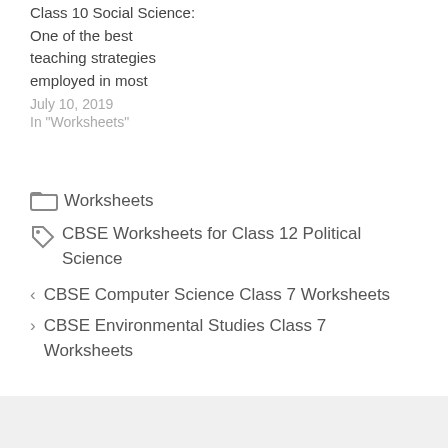Class 10 Social Science: One of the best teaching strategies employed in most
July 10, 2019
In "Worksheets"
Worksheets
CBSE Worksheets for Class 12 Political Science
< CBSE Computer Science Class 7 Worksheets
> CBSE Environmental Studies Class 7 Worksheets